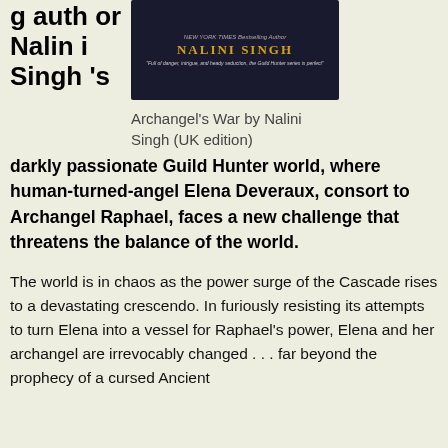[Figure (photo): Book cover of Archangel's War by Nalini Singh, UK edition, dark cover with author name in gold letters]
Archangel's War by Nalini Singh (UK edition)
g author Nalini Singh's darkly passionate Guild Hunter world, where human-turned-angel Elena Deveraux, consort to Archangel Raphael, faces a new challenge that threatens the balance of the world.
The world is in chaos as the power surge of the Cascade rises to a devastating crescendo. In furiously resisting its attempts to turn Elena into a vessel for Raphael's power, Elena and her archangel are irrevocably changed . . . far beyond the prophecy of a cursed Ancient